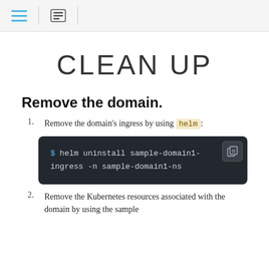CLEAN UP
Remove the domain.
Remove the domain's ingress by using helm:
[Figure (screenshot): Terminal code block showing: $ helm uninstall sample-domain1-ingress -n sample-domain1-ns]
Remove the Kubernetes resources associated with the domain by using the sample